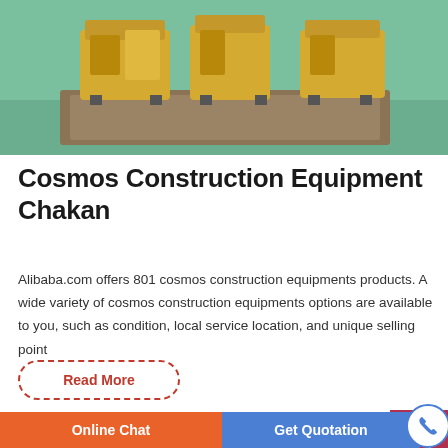[Figure (photo): Industrial construction equipment (yellow machines) on a green factory floor]
Cosmos Construction Equipment Chakan
Alibaba.com offers 801 cosmos construction equipments products. A wide variety of cosmos construction equipments options are available to you, such as condition, local service location, and unique selling point
Read More
[Figure (photo): Industrial machinery/construction equipment in a factory setting]
Online Chat
Get Quotation